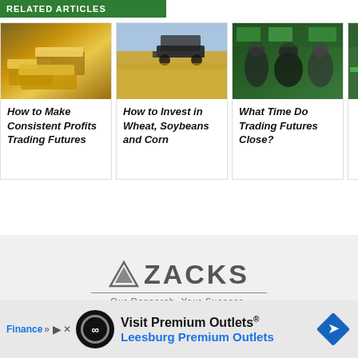RELATED ARTICLES
[Figure (photo): Gold bars stacked on each other]
How to Make Consistent Profits Trading Futures
[Figure (photo): Combine harvester in a wheat/corn field]
How to Invest in Wheat, Soybeans and Corn
[Figure (photo): People at trading floor terminals with green screens]
What Time Do Trading Futures Close?
[Figure (logo): Zacks Investment Research logo with triangle and tagline: Our Research. Your Success.]
Visit Premium Outlets® Leesburg Premium Outlets